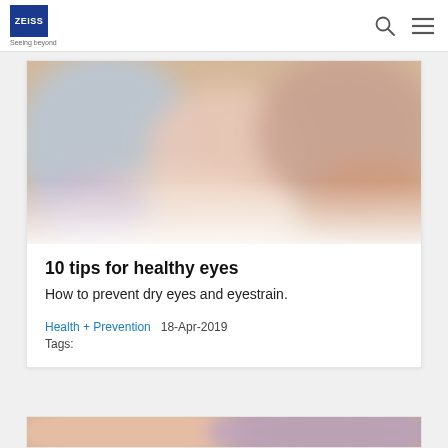ZEISS — Seeing beyond
[Figure (photo): Blurred photo of people, warm tones with pinks and tans]
10 tips for healthy eyes
How to prevent dry eyes and eyestrain.
Health + Prevention   18-Apr-2019
Tags:
[Figure (photo): Partial blurred photo at bottom of page]